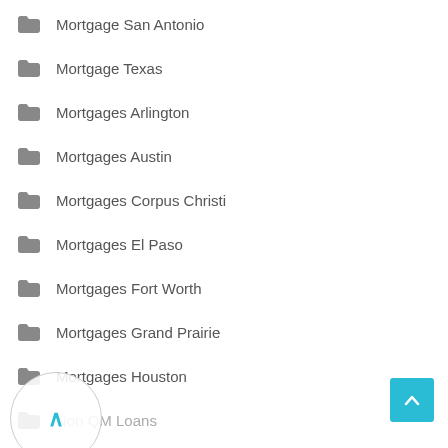Mortgage San Antonio
Mortgage Texas
Mortgages Arlington
Mortgages Austin
Mortgages Corpus Christi
Mortgages El Paso
Mortgages Fort Worth
Mortgages Grand Prairie
Mortgages Houston
Non QM Loans
Non Qualified Mortgage
Rates For FHA Loans